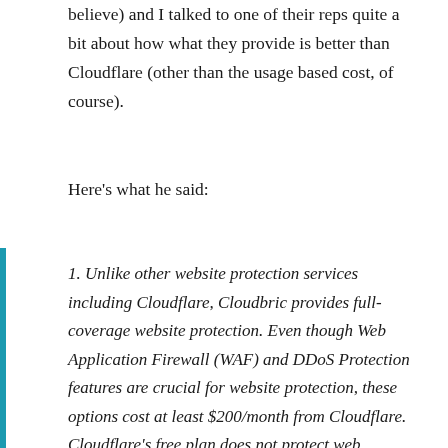believe) and I talked to one of their reps quite a bit about how what they provide is better than Cloudflare (other than the usage based cost, of course).
Here's what he said:
1. Unlike other website protection services including Cloudflare, Cloudbric provides full-coverage website protection. Even though Web Application Firewall (WAF) and DDoS Protection features are crucial for website protection, these options cost at least $200/month from Cloudflare. Cloudflare's free plan does not protect web application layer 3, 4, and 7, which makes it pointless.
2. Our usage-based plan, rather than options plan, allow...